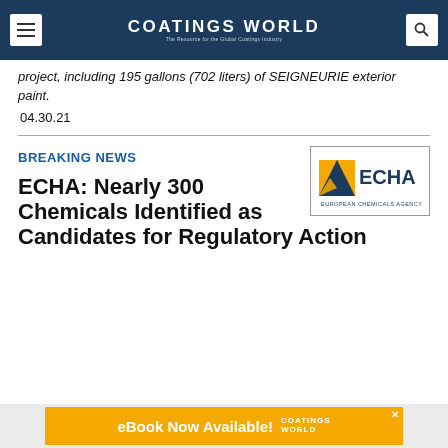Coatings World
project, including 195 gallons (702 liters) of SEIGNEURIE exterior paint.
04.30.21
BREAKING NEWS
[Figure (logo): ECHA European Chemicals Agency logo]
ECHA: Nearly 300 Chemicals Identified as Candidates for Regulatory Action
eBook Now Available! Coatings World